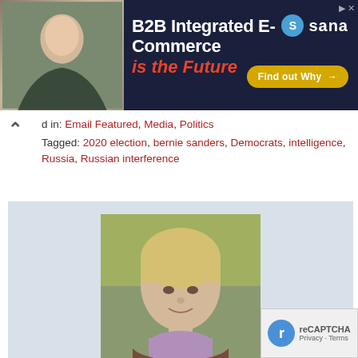[Figure (advertisement): Dark navy blue banner ad for Sana B2B Integrated E-Commerce with man smiling on left, headline text, and Find out Why button]
Filed in: Email Featured, Media, Politics
Tagged: 2020 election, bernie sanders, Democrats, intelligence, Russia, Russian interference
[Figure (photo): Portrait photo of J.E. Dyer, a woman with short blonde hair wearing a lavender turtleneck and brown jacket, with trees in background]
J.E. Dyer
J.E. Dyer is a retired Naval Intelligence officer who lives in Southern California, blogging as The Optimistic Conservative for domestic tranquility and world peace. Her articles have appeared at Hot Air,